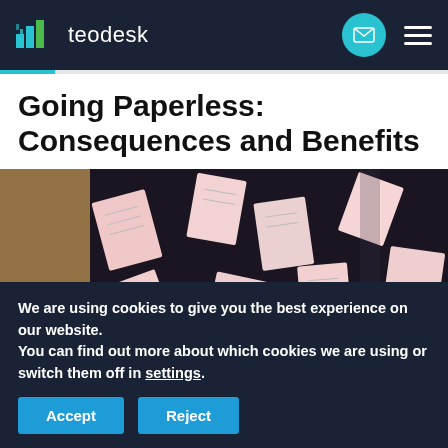teodesk
Going Paperless: Consequences and Benefits
[Figure (photo): Pink sticky notes and paper slips scattered on a dark surface and glass window]
We are using cookies to give you the best experience on our website.
You can find out more about which cookies we are using or switch them off in settings.
Accept  Reject